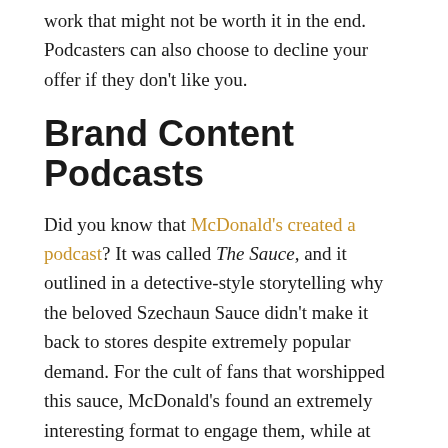work that might not be worth it in the end. Podcasters can also choose to decline your offer if they don't like you.
Brand Content Podcasts
Did you know that McDonald's created a podcast? It was called The Sauce, and it outlined in a detective-style storytelling why the beloved Szechaun Sauce didn't make it back to stores despite extremely popular demand. For the cult of fans that worshipped this sauce, McDonald's found an extremely interesting format to engage them, while at